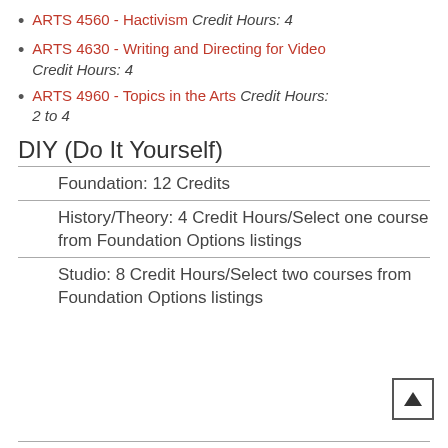ARTS 4560 - Hactivism Credit Hours: 4
ARTS 4630 - Writing and Directing for Video Credit Hours: 4
ARTS 4960 - Topics in the Arts Credit Hours: 2 to 4
DIY (Do It Yourself)
Foundation: 12 Credits
History/Theory: 4 Credit Hours/Select one course from Foundation Options listings
Studio: 8 Credit Hours/Select two courses from Foundation Options listings